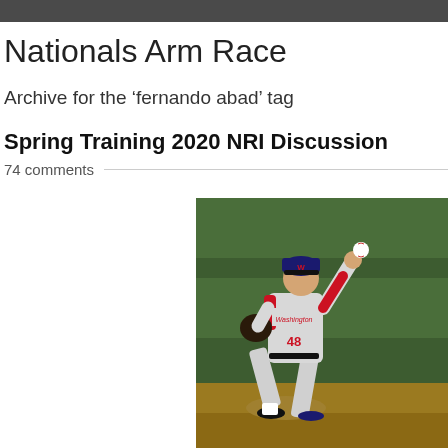Nationals Arm Race
Archive for the ‘fernando abad’ tag
Spring Training 2020 NRI Discussion
74 comments
[Figure (photo): A Washington Nationals pitcher in gray road uniform with number 48 in mid-delivery on a baseball mound, green field background]